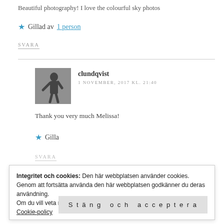Beautiful photography! I love the colourful sky photos
★ Gillad av 1 person
SVARA
clundqvist
1 NOVEMBER, 2017 KL. 21:40
[Figure (photo): Black and white avatar photo of a person outdoors]
Thank you very much Melissa!
★ Gilla
SVARA
Integritet och cookies: Den här webbplatsen använder cookies. Genom att fortsätta använda den här webbplatsen godkänner du deras användning.
Om du vill veta mer, inklusive hur du kontrollerar cookies, se: Cookie-policy
Stäng och acceptera